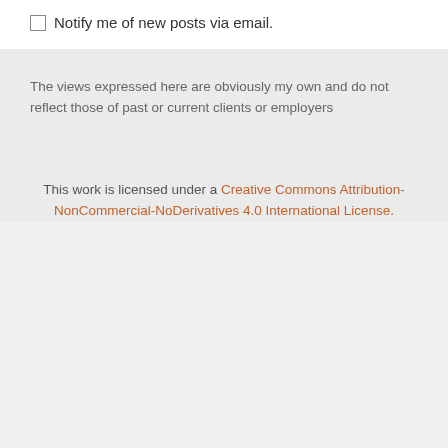Notify me of new posts via email.
The views expressed here are obviously my own and do not reflect those of past or current clients or employers
This work is licensed under a Creative Commons Attribution-NonCommercial-NoDerivatives 4.0 International License.